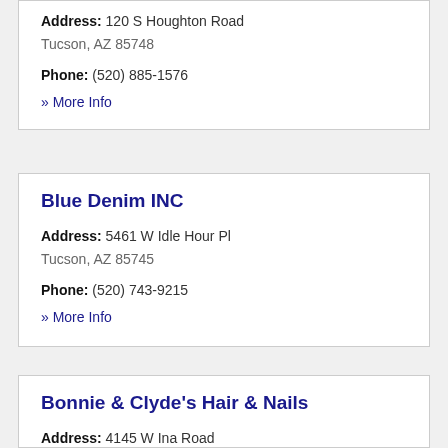Address: 120 S Houghton Road Tucson, AZ 85748
Phone: (520) 885-1576
» More Info
Blue Denim INC
Address: 5461 W Idle Hour Pl Tucson, AZ 85745
Phone: (520) 743-9215
» More Info
Bonnie & Clyde's Hair & Nails
Address: 4145 W Ina Road